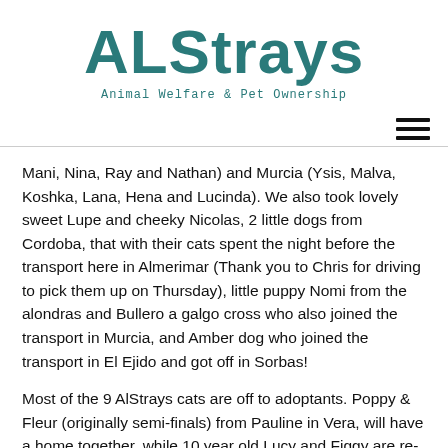[Figure (logo): ALStrays logo with large teal/dark teal text 'ALStrays' and subtitle 'Animal Welfare & Pet Ownership' in monospace font]
Mani, Nina, Ray and Nathan) and Murcia (Ysis, Malva, Koshka, Lana, Hena and Lucinda). We also took lovely sweet Lupe and cheeky Nicolas, 2 little dogs from Cordoba, that with their cats spent the night before the transport here in Almerimar (Thank you to Chris for driving to pick them up on Thursday), little puppy Nomi from the alondras and Bullero a galgo cross who also joined the transport in Murcia, and Amber dog who joined the transport in El Ejido and got off in Sorbas!
Most of the 9 AlStrays cats are off to adoptants. Poppy & Fleur (originally semi-finals) from Pauline in Vera, will have a home together, while 10 year old Lucy and Figgy are re-homed because they family are returning to live in the UK after over 10 years in Spain. 5 year old Tiger finally has a new family after a year in foster care, after his owner died. Arial is escaping the cage she has been living in for over a month after being